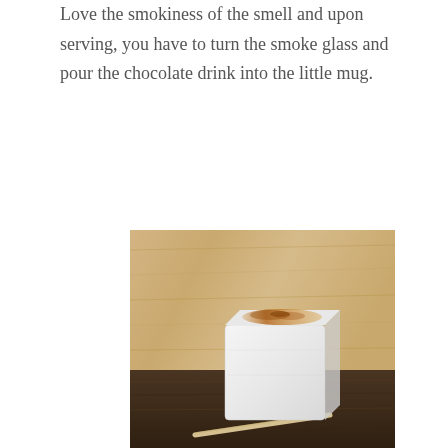Love the smokiness of the smell and upon serving, you have to turn the smoke glass and pour the chocolate drink into the little mug.
[Figure (photo): A large square marshmallow with golden-brown toasted top, skewered on a wooden stick, resting on a wooden surface with a light wood-grain background.]